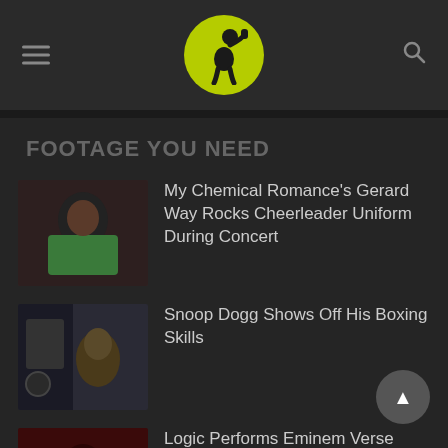[Figure (logo): Website logo: yellow-green circle with black silhouette of person drinking/holding microphone]
FOOTAGE YOU NEED
My Chemical Romance's Gerard Way Rocks Cheerleader Uniform During Concert
Snoop Dogg Shows Off His Boxing Skills
Logic Performs Eminem Verse From Forgot About Dre During Concert